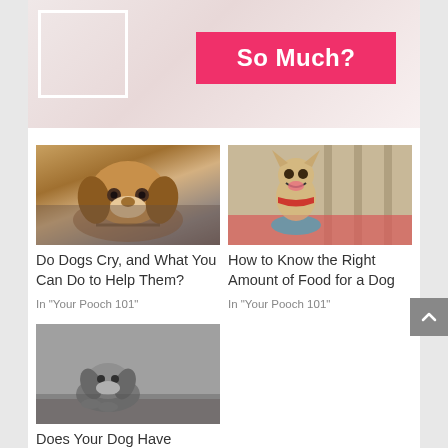[Figure (photo): Top banner image showing a dog photo with a white border rectangle overlay and a hot pink box reading 'So Much?']
[Figure (photo): Photo of a brown and white beagle dog lying down with its chin on the ground, looking sad or tired]
Do Dogs Cry, and What You Can Do to Help Them?
In "Your Pooch 101"
[Figure (photo): Photo of a happy chihuahua dog sitting at a table with a bowl of food, wearing a red bandana, in an outdoor restaurant setting]
How to Know the Right Amount of Food for a Dog
In "Your Pooch 101"
[Figure (photo): Black and white photo of a small puppy crouching low on the ground, looking sad or nervous]
Does Your Dog Have